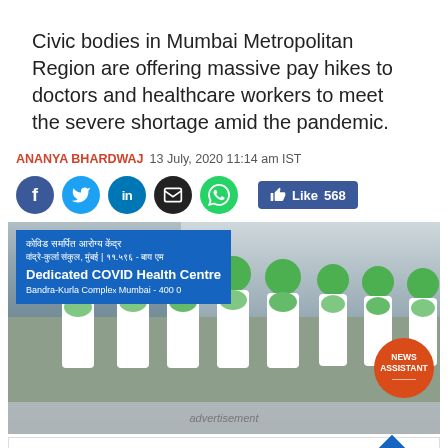Civic bodies in Mumbai Metropolitan Region are offering massive pay hikes to doctors and healthcare workers to meet the severe shortage amid the pandemic.
ANANYA BHARDWAJ 13 July, 2020 11:14 am IST
[Figure (screenshot): Social media sharing icons: Facebook, Twitter, LinkedIn, Email, WhatsApp, and a Like button showing 568 likes]
[Figure (photo): Healthcare workers in white uniforms and green masks and caps standing in front of a Dedicated COVID Health Centre sign at Bandra-Kurla Complex, Mumbai. A NEWS ASSISTANT badge overlay is visible on the bottom right. An advertisement overlay is at the bottom.]
Dine-in  Curbside pickup